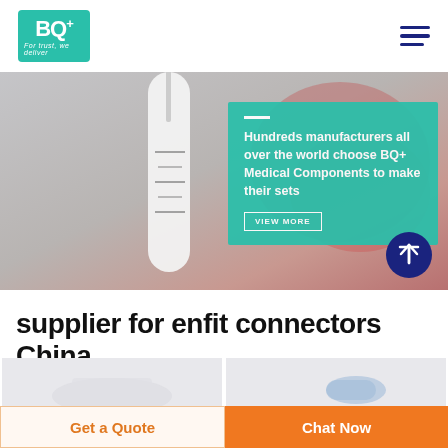[Figure (logo): BQ+ Medical logo - teal/green square with BQ+ text and tagline 'For trust, we deliver']
[Figure (photo): Hero banner showing a medical IV drip connector close-up with blurred background, overlaid with a teal box containing marketing text]
Hundreds manufacturers all over the world choose BQ+ Medical Components to make their sets
supplier for enfit connectors China
[Figure (photo): Product photo card 1 - enfit connector product on light grey background]
[Figure (photo): Product photo card 2 - blue/clear enfit connector on light grey background]
Get a Quote
Chat Now